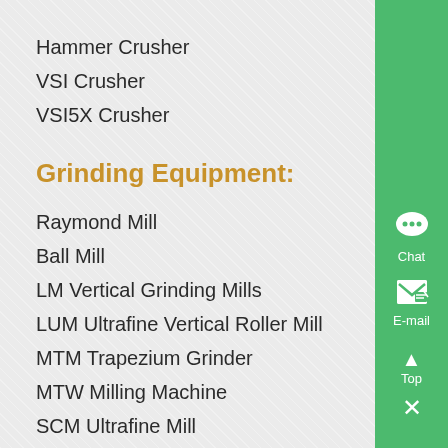Hammer Crusher
VSI Crusher
VSI5X Crusher
Grinding Equipment:
Raymond Mill
Ball Mill
LM Vertical Grinding Mills
LUM Ultrafine Vertical Roller Mill
MTM Trapezium Grinder
MTW Milling Machine
SCM Ultrafine Mill
T130X Reinforced Ultrafine Mill
Feeding & Conveying: